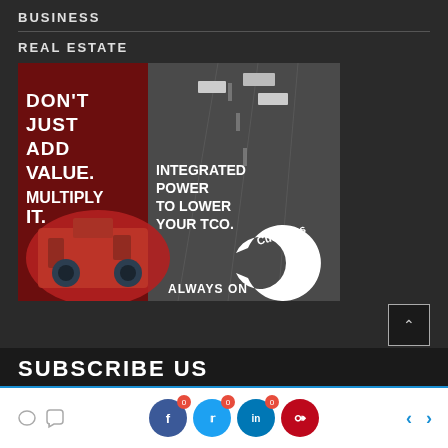BUSINESS
REAL ESTATE
[Figure (photo): Cummins advertisement: 'DON'T JUST ADD VALUE. MULTIPLY IT.' with 'INTEGRATED POWER TO LOWER YOUR TCO.' and 'ALWAYS ON' tagline. Features a red Cummins engine on left with dark aerial highway background on right, and Cummins logo.]
SUBSCRIBE US
0  0  0  social share buttons for Facebook, Twitter, LinkedIn, Pinterest with navigation arrows